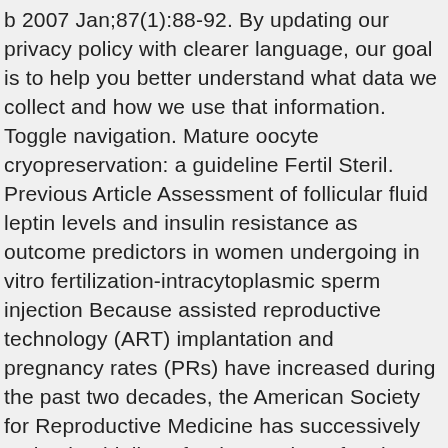b 2007 Jan;87(1):88-92. By updating our privacy policy with clearer language, our goal is to help you better understand what data we collect and how we use that information. Toggle navigation. Mature oocyte cryopreservation: a guideline Fertil Steril. Previous Article Assessment of follicular fluid leptin levels and insulin resistance as outcome predictors in women undergoing in vitro fertilization-intracytoplasmic sperm injection Because assisted reproductive technology (ART) implantation and pregnancy rates (PRs) have increased during the past two decades, the American Society for Reproductive Medicine has successively revised guidelines for the number of embryos to be transferred .Although much data have accrued regarding the risks of multiple gestations with high ET number for most patients, less robust … Their guidelines generated some controversy, as evidenced by a change.org doi: 10.1016/j.fertnstert.2014.09.015. Covid-19 pandemic, the American Society for Reproductive Medicine (ASRM) created a specific task force to address infertility treatments, which were only indirectly